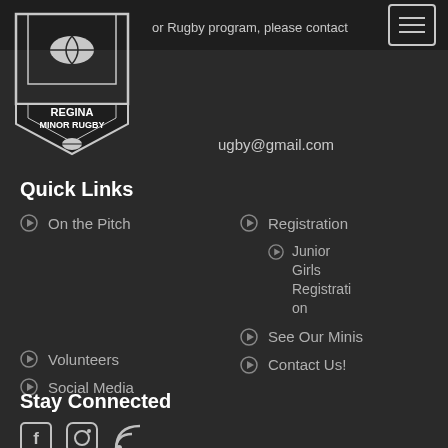Regina Minor Rugby program, please contact
[Figure (logo): Regina Minor Rugby shield logo with rugby ball]
ugby@gmail.com
Quick Links
On the Pitch
Registration
Junior Girls Registration
Volunteers
See Our Minis
Social Media
Contact Us!
Stay Connected
[Figure (illustration): Social media icons: Facebook, Instagram, RSS feed]